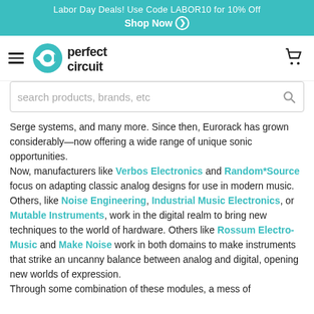Labor Day Deals! Use Code LABOR10 for 10% Off Shop Now ❯
[Figure (logo): Perfect Circuit logo with hamburger menu and cart icon]
search products, brands, etc
Serge systems, and many more. Since then, Eurorack has grown considerably—now offering a wide range of unique sonic opportunities.
Now, manufacturers like Verbos Electronics and Random*Source focus on adapting classic analog designs for use in modern music. Others, like Noise Engineering, Industrial Music Electronics, or Mutable Instruments, work in the digital realm to bring new techniques to the world of hardware. Others like Rossum Electro-Music and Make Noise work in both domains to make instruments that strike an uncanny balance between analog and digital, opening new worlds of expression.
Through some combination of these modules, a mess of